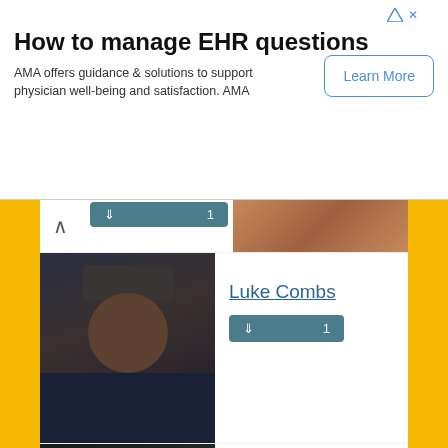[Figure (infographic): Advertisement banner: How to manage EHR questions. AMA offers guidance & solutions to support physician well-being and satisfaction. AMA. Learn More button.]
[Figure (photo): Partial close-up photo of a person's lower face/neck area, warm skin tones]
[Figure (photo): Photo of Luke Combs wearing a dark cap and blue shirt]
Luke Combs
[Figure (photo): Photo of Machine Gun Kelly with tattoos]
Machine Gun Kelly
[Figure (photo): Photo of George Ezra in black clothing]
George Ezra
[Figure (photo): Partial photo of another artist, mostly cut off at bottom]